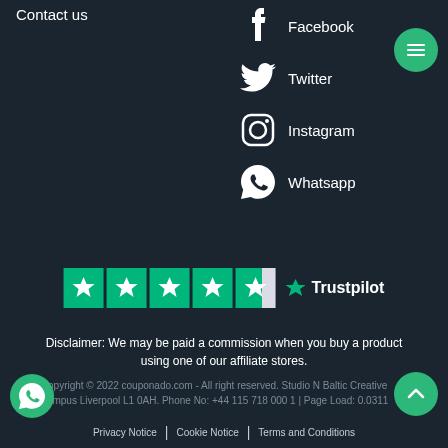Contact us
Facebook
Twitter
Instagram
Whatsapp
[Figure (logo): Trustpilot logo with 4.5 green stars rating]
Disclaimer: We may be paid a commission when you buy a product using one of our affiliate stores.
Copyright © 2022 couponado.com - All right reserved. Studio N Baltic Creative Campus Liverpool L1 0AH. Phone No: +44 115 718 000 1 | Page Load: 0.0311
Privacy Notice | Cookie Notice | Terms and Conditions